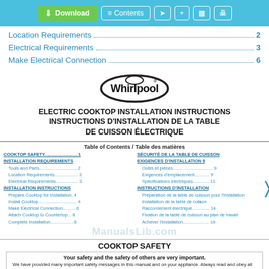Download | Contents | [share] [+] [bookmark] [print]
Location Requirements ... 2
Electrical Requirements ... 3
Make Electrical Connection ... 6
[Figure (logo): Whirlpool logo]
ELECTRIC COOKTOP INSTALLATION INSTRUCTIONS INSTRUCTIONS D'INSTALLATION DE LA TABLE DE CUISSON ÉLECTRIQUE
Table of Contents / Table des matières — two-column TOC with English and French entries
COOKTOP SAFETY
Your safety and the safety of others are very important. We have provided many important safety messages in this manual and on your appliance. Always read and obey all safety